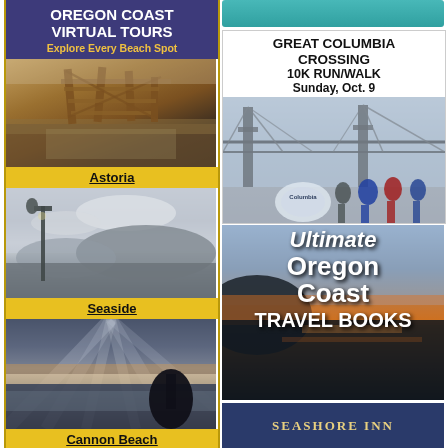Articles
[Figure (screenshot): Teal/green button area at top right]
[Figure (screenshot): Oregon Coast Virtual Tours sidebar with title, Astoria beach wreck photo, Seaside lighthouse photo, Cannon Beach sunset photo and location links]
[Figure (screenshot): Great Columbia Crossing 10K Run/Walk Sunday Oct 9 advertisement with bridge and runners photo, Sign up now button]
[Figure (screenshot): Ultimate Oregon Coast Travel Books advertisement with sunset coastal background]
[Figure (screenshot): Seashore Inn advertisement banner]